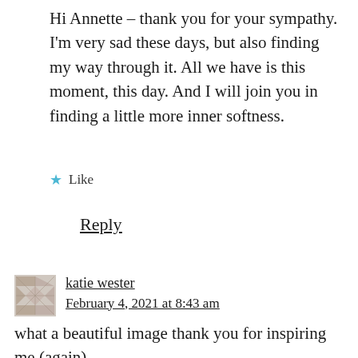Hi Annette – thank you for your sympathy. I'm very sad these days, but also finding my way through it. All we have is this moment, this day. And I will join you in finding a little more inner softness.
★ Like
Reply
katie wester
February 4, 2021 at 8:43 am
what a beautiful image thank you for inspiring me (again)